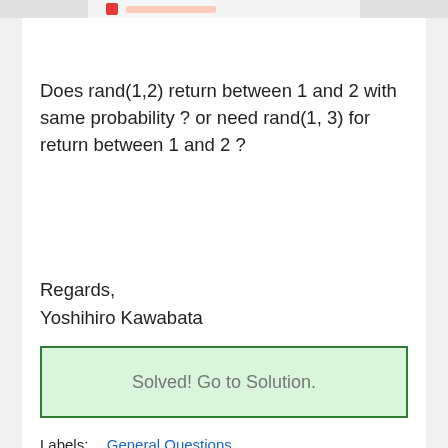[Figure (screenshot): Partial top bar with red icon and truncated text on grey background]
Does rand(1,2) return between 1 and 2 with same probability ? or need rand(1, 3) for return between 1 and 2 ?
Regards,
Yoshihiro Kawabata
Solved! Go to Solution.
Labels:  General Questions
Everyone's tags (1):  rand